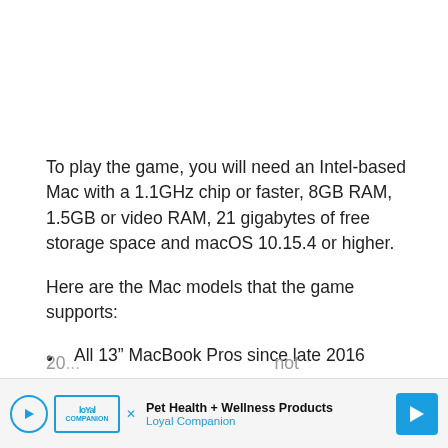To play the game, you will need an Intel-based Mac with a 1.1GHz chip or faster, 8GB RAM, 1.5GB or video RAM, 21 gigabytes of free storage space and macOS 10.15.4 or higher.
Here are the Mac models that the game supports:
All 13” MacBook Pros since late 2016
All 15” MacBook Pros released since late 20[cut off]
[Figure (other): Advertisement banner for Loyal Companion Pet Health + Wellness Products with play button, logo, text, and navigation arrow icon.]